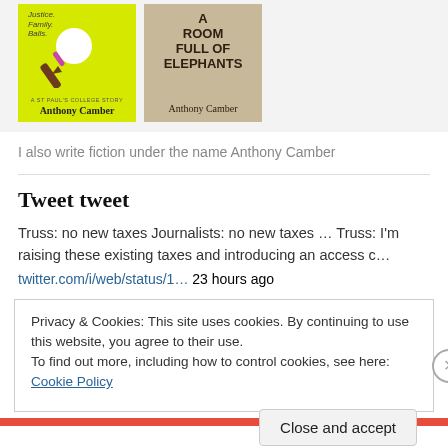[Figure (illustration): Two book covers side by side — a yellow cover with a pen illustration titled 'A ST PAUL'S COLLEGE STORY' by Anthony Camber, and a tan/beige cover titled 'A ROOM FULL OF ELEPHANTS' by Anthony Camber.]
I also write fiction under the name Anthony Camber
Tweet tweet
Truss: no new taxes Journalists: no new taxes … Truss: I'm raising these existing taxes and introducing an access c…
twitter.com/i/web/status/1… 23 hours ago
Privacy & Cookies: This site uses cookies. By continuing to use this website, you agree to their use.
To find out more, including how to control cookies, see here: Cookie Policy